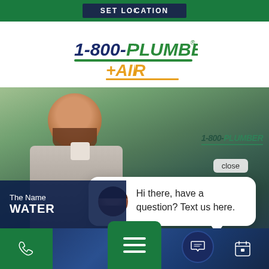SET LOCATION
[Figure (logo): 1-800-PLUMBER + AIR logo with green underline and orange '+AIR' text]
[Figure (photo): Screenshot of 1-800-Plumber + Air website homepage showing a technician, a chat popup with avatar saying 'Hi there, have a question? Text us here.', partial text 'The Name... WATER...' in dark blue overlay, and green navigation bar at bottom with phone, menu, chat, and calendar icons.]
Hi there, have a question? Text us here.
close
The Name
WATER